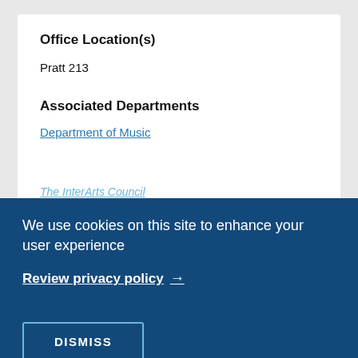Office Location(s)
Pratt 213
Associated Departments
Department of Music
The InterArts Council
We use cookies on this site to enhance your user experience
A music historian specializing in Mozart and eighteenth-century opera, ballet, and art song, particularly in... which interests include
Review privacy policy →
marginalized composers, early musical... film music. She has published articles... Eighteenth-Century Music (2017) and Opera Quarterly (2013), and guest-edited an issue of Opera
DISMISS